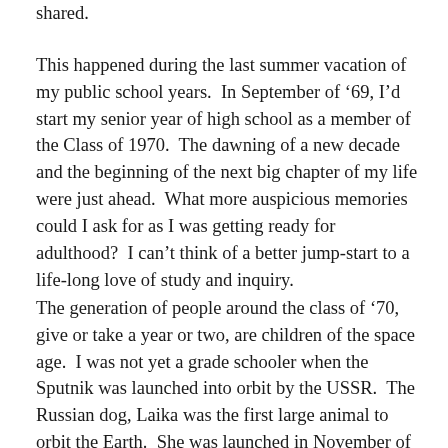shared.
This happened during the last summer vacation of my public school years.  In September of '69, I'd start my senior year of high school as a member of the Class of 1970.  The dawning of a new decade and the beginning of the next big chapter of my life were just ahead.  What more auspicious memories could I ask for as I was getting ready for adulthood?  I can't think of a better jump-start to a life-long love of study and inquiry.
The generation of people around the class of '70, give or take a year or two, are children of the space age.  I was not yet a grade schooler when the Sputnik was launched into orbit by the USSR.  The Russian dog, Laika was the first large animal to orbit the Earth.  She was launched in November of 1957.  About a year before I entered